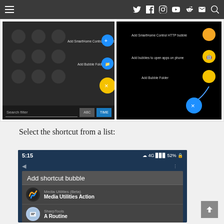Navigation bar with hamburger menu and social icons (Twitter, Facebook, Instagram, YouTube, Reddit, Email, Search)
[Figure (screenshot): Two side-by-side screenshots of a mobile app showing bubble options: 'Add SmartHome Control HTTP bubble' and 'Add Bubble Folder' with yellow/blue circular buttons. Left screenshot shows a dark UI with search filter bar and ABC/TIME buttons. Right screenshot shows same menu on black background.]
Select the shortcut from a list:
[Figure (screenshot): Screenshot of Android app dialog 'Add shortcut bubble' showing a list with: Media Utilities (Beta) / Media Utilities Action, SharpTools / A Routine. Status bar shows 5:15 time and 52% battery. Background shows partial app UI with eye icon and stars.]